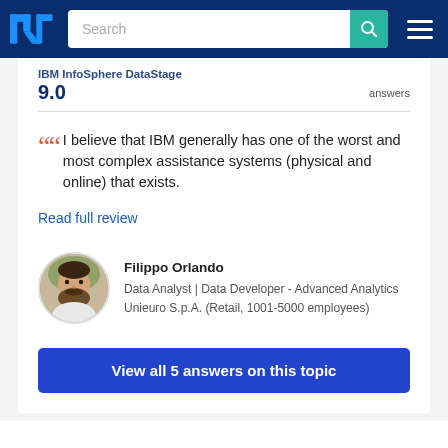TrustRadius — Search bar with logo and hamburger menu
IBM InfoSphere DataStage … 9.0  answers
I believe that IBM generally has one of the worst and most complex assistance systems (physical and online) that exists.
Read full review
Filippo Orlando
Data Analyst | Data Developer - Advanced Analytics
Unieuro S.p.A. (Retail, 1001-5000 employees)
View all 5 answers on this topic